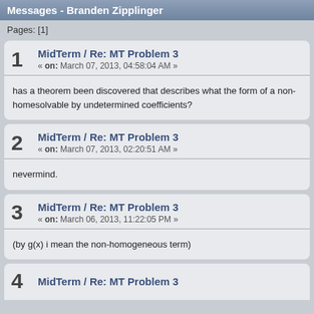Messages - Branden Zipplinger
Pages: [1]
1  MidTerm / Re: MT Problem 3
« on: March 07, 2013, 04:58:04 AM »
has a theorem been discovered that describes what the form of a non-homogeneous term must be to be solvable by undetermined coefficients?
2  MidTerm / Re: MT Problem 3
« on: March 07, 2013, 02:20:51 AM »
nevermind.
3  MidTerm / Re: MT Problem 3
« on: March 06, 2013, 11:22:05 PM »
(by g(x) i mean the non-homogeneous term)
4  MidTerm / Re: MT Problem 3